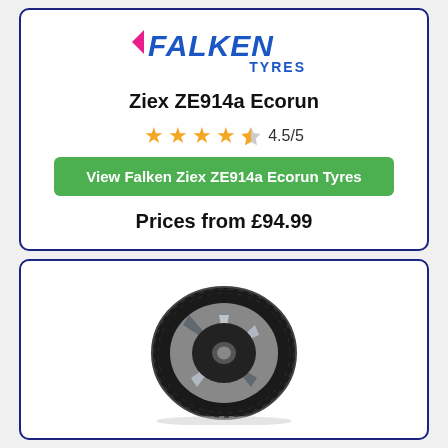[Figure (logo): Falken Tyres logo in blue with pink arrow, text FALKEN in bold italic blue with TYRES below in blue]
Ziex ZE914a Ecorun
4.5/5 star rating (4 full stars and 1 half star shown in orange)
View Falken Ziex ZE914a Ecorun Tyres
Prices from £94.99
[Figure (photo): Falken Ziex ZE914a Ecorun tyre shown at an angle, black tyre with silver/chrome multi-spoke alloy wheel, tread pattern visible]